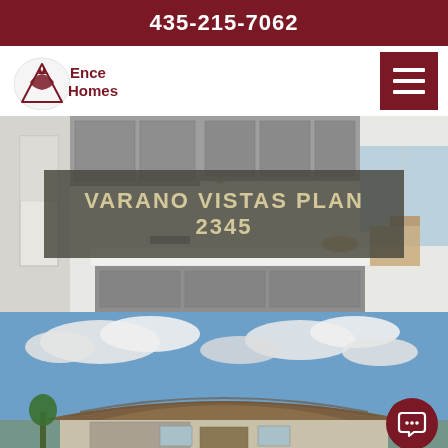435-215-7062
[Figure (logo): Ence Homes logo with mountain/wolf icon and company name]
[Figure (screenshot): Navigation hamburger menu button in dark red]
[Figure (photo): Interior kitchen photo with gray cabinets, white island, pendant lights, and dining area]
VARANO VISTAS PLAN 2345
[Figure (photo): Exterior photo of single-story home with tile roof against blue sky with clouds]